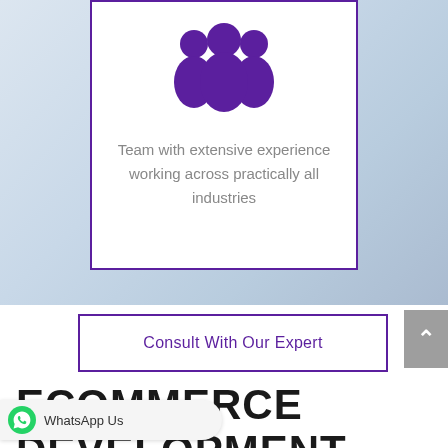[Figure (illustration): A card with a purple team/group icon (three silhouetted figures) above text, bordered with a purple outline]
Team with extensive experience working across practically all industries
Consult With Our Expert
ECOMMERCE DEVELOPMENT FEATURES
WhatsApp Us